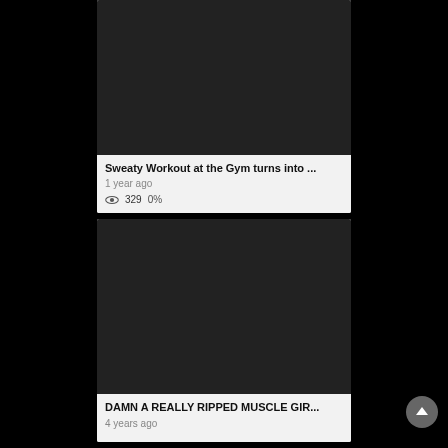[Figure (screenshot): Dark/black video thumbnail for first card]
Sweaty Workout at the Gym turns into ...
1 year ago
329  0%
[Figure (screenshot): Dark/black video thumbnail for second card]
DAMN A REALLY RIPPED MUSCLE GIR...
4 years ago